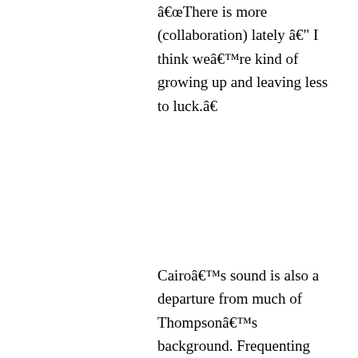“There is more (collaboration) lately — I think we’re kind of growing up and leaving less to luck.”
Cairo’s sound is also a departure from much of Thompson’s background. Frequenting punk bands in his youth, postings on streetlights led to flirtations with many genres at odds with the influentially diverse Cairo. From the post-rock leanings of album opener “Cogs” to the standout sing-along “A Hot Minute (At The Tech-Noir),” it’s a far cry from some previous project’s